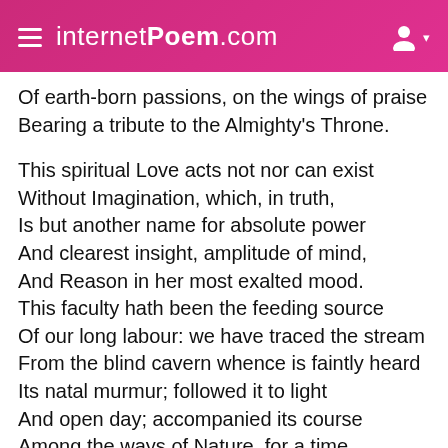internetPoem.com
Of earth-born passions, on the wings of praise
Bearing a tribute to the Almighty's Throne.

This spiritual Love acts not nor can exist
Without Imagination, which, in truth,
Is but another name for absolute power
And clearest insight, amplitude of mind,
And Reason in her most exalted mood.
This faculty hath been the feeding source
Of our long labour: we have traced the stream
From the blind cavern whence is faintly heard
Its natal murmur; followed it to light
And open day; accompanied its course
Among the ways of Nature, for a time
Lost sight of it bewildered and engulphed;
Then given it greeting as it rose once more